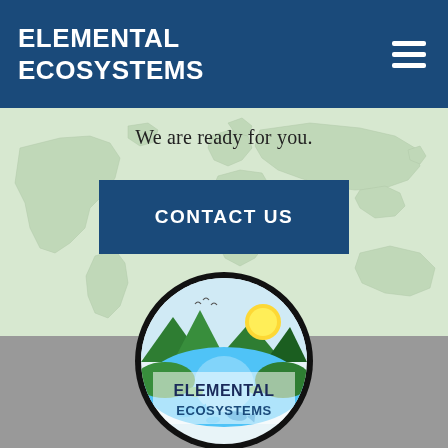ELEMENTAL ECOSYSTEMS
We are ready for you.
CONTACT US
[Figure (logo): Elemental Ecosystems circular logo with nature scene including river, mountains, sun, and fish, with company name text]
[Figure (map): World map silhouette in light green on pale green background]